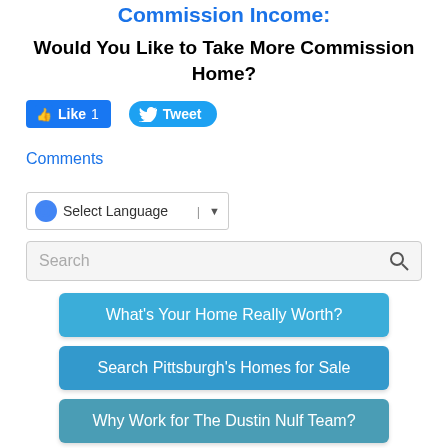Commission Income:.
Would You Like to Take More Commission Home?
[Figure (screenshot): Facebook Like button with count 1 and Twitter Tweet button]
Comments
[Figure (screenshot): Google Translate widget with Select Language dropdown]
[Figure (screenshot): Search input box with magnifying glass icon]
What's Your Home Really Worth?
Search Pittsburgh's Homes for Sale
Why Work for The Dustin Nulf Team?